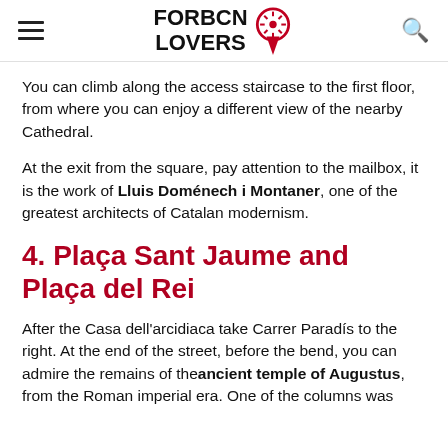FORBCN LOVERS [logo with map pin icon and search icon]
You can climb along the access staircase to the first floor, from where you can enjoy a different view of the nearby Cathedral.
At the exit from the square, pay attention to the mailbox, it is the work of Lluis Doménech i Montaner, one of the greatest architects of Catalan modernism.
4. Plaça Sant Jaume and Plaça del Rei
After the Casa dell'arcidiaca take Carrer Paradís to the right. At the end of the street, before the bend, you can admire the remains of the ancient temple of Augustus, from the Roman imperial era. One of the columns was